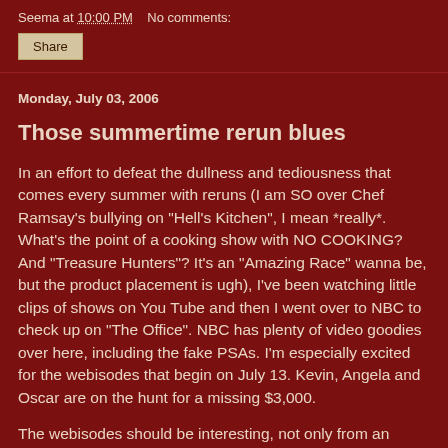Seema at 10:00 PM    No comments:
Share
Monday, July 03, 2006
Those summertime rerun blues
In an effort to defeat the dullness and tediousness that comes every summer with reruns (I am SO over Chef Ramsay's bullying on "Hell's Kitchen", I mean *really*. What's the point of a cooking show with NO COOKING? And "Treasure Hunters"? It's an "Amazing Race" wanna be, but the product placement is ugh), I've been watching little clips of shows on You Tube and then I went over to NBC to check up on "The Office". NBC has plenty of video goodies over here, including the fake PSAs. I'm especially excited for the webisodes that begin on July 13. Kevin, Angela and Oscar are on the hunt for a missing $3,000.
The webisodes should be interesting, not only from an entertainment POV, but how it does technology wise. All